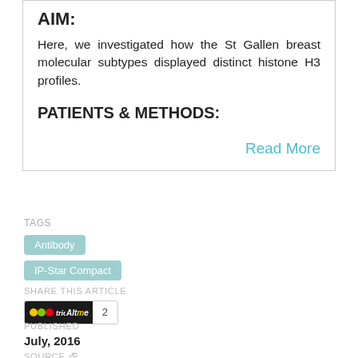AIM:
Here, we investigated how the St Gallen breast molecular subtypes displayed distinct histone H3 profiles.
PATIENTS & METHODS:
Read More
TAGS
Antibody
IP-Star Compact
SHARE THIS ARTICLE
Altmetric 2
PUBLISHED
July, 2016
SOURCE